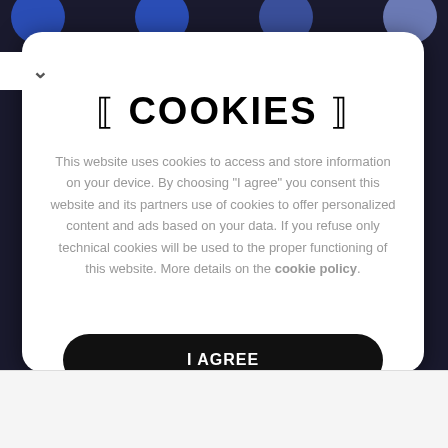[ COOKIES ]
This website uses cookies to access and store information on your device. By choosing "I agree" you consent this website and its partners use of cookies to offer personalized content and ads based on your data. If you refuse only technical cookies will be used to the proper functioning of this website. More details on the cookie policy.
I AGREE
Save Up To $75 on New Tires
Virginia Tire & Auto of Ashburn ...